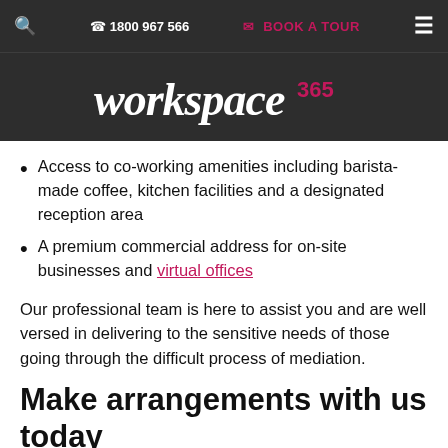🔍   📞 1800 967 566   ✉ BOOK A TOUR   ☰
[Figure (logo): workspace365 logo in white script text on dark background]
Access to co-working amenities including barista-made coffee, kitchen facilities and a designated reception area
A premium commercial address for on-site businesses and virtual offices
Our professional team is here to assist you and are well versed in delivering to the sensitive needs of those going through the difficult process of mediation.
Make arrangements with us today
Want to learn more about our booking process? We're ready to accommodate advanced and last-minute bookings, so feel free to enquire via the booking form